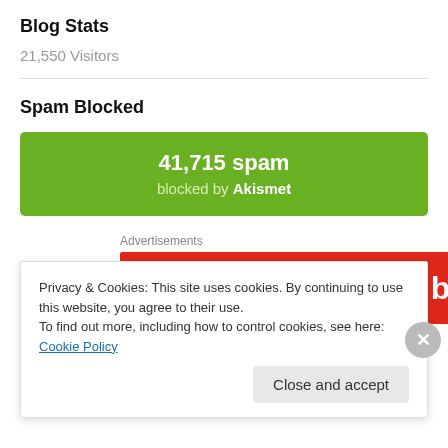Blog Stats
21,550 Visitors
Spam Blocked
[Figure (infographic): Green Akismet spam counter box showing 41,715 spam blocked by Akismet]
Advertisements
[Figure (screenshot): Red advertisement banner showing 'An app by' text with a phone graphic]
Privacy & Cookies: This site uses cookies. By continuing to use this website, you agree to their use.
To find out more, including how to control cookies, see here: Cookie Policy